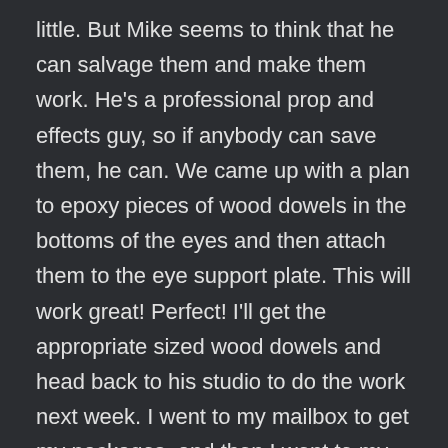little. But Mike seems to think that he can salvage them and make them work. He's a professional prop and effects guy, so if anybody can save them, he can. We came up with a plan to epoxy pieces of wood dowels in the bottoms of the eyes and then attach them to the eye support plate. This will work great! Perfect! I'll get the appropriate sized wood dowels and head back to his studio to do the work next week. I went to my mailbox to get my packages, and then I went to my bank to do some business. When I got back home I did some prep for the music session at Carmen Grillo's on Thursday. Later I did my nightly auditions, and did a quick 'self-directed' session for one of my usual clients and some more work programming my phone and then hit the